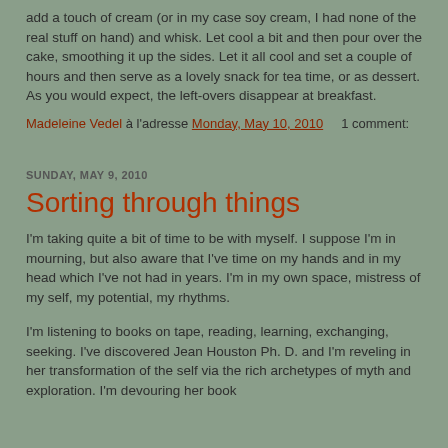add a touch of cream (or in my case soy cream, I had none of the real stuff on hand) and whisk. Let cool a bit and then pour over the cake, smoothing it up the sides. Let it all cool and set a couple of hours and then serve as a lovely snack for tea time, or as dessert. As you would expect, the left-overs disappear at breakfast.
Madeleine Vedel à l'adresse Monday, May 10, 2010   1 comment:
SUNDAY, MAY 9, 2010
Sorting through things
I'm taking quite a bit of time to be with myself. I suppose I'm in mourning, but also aware that I've time on my hands and in my head which I've not had in years. I'm in my own space, mistress of my self, my potential, my rhythms.
I'm listening to books on tape, reading, learning, exchanging, seeking. I've discovered Jean Houston Ph. D. and I'm reveling in her transformation of the self via the rich archetypes of myth and exploration. I'm devouring her book